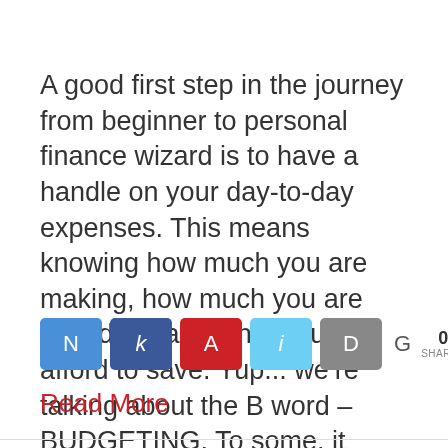A good first step in the journey from beginner to personal finance wizard is to have a handle on your day-to-day expenses. This means knowing how much you are making, how much you are spending, and what you can afford to save. Yup... we’re talking about the B word – BUDGETING. To some, it can...
[Figure (other): Social sharing buttons row: N (blue), k (dark blue), A (red), i (cyan), D (gray), G with 0 SHARES count]
Read More